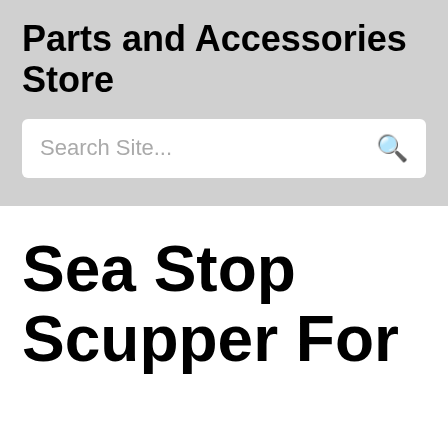Parts and Accessories Store
Search Site...
Sea Stop Scupper For